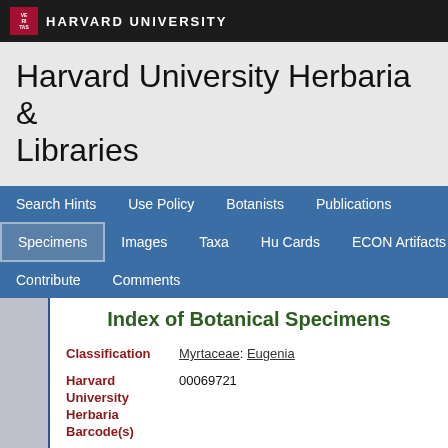HARVARD UNIVERSITY
Harvard University Herbaria & Libraries
Search Hints  Use Policy  Botanists  Publications  Specimens  Images  Taxa  Hu Cards  ECON Artifacts  Contribute  Comments
Index of Botanical Specimens
| Field | Value |
| --- | --- |
| Classification | Myrtaceae: Eugenia |
| Harvard University Herbaria Barcode(s) | 00069721 |
| Type Status | Isotype |
| Collector | A. D. E. Elmer |
| Collector number | 9187 |
| Country | Philippines |